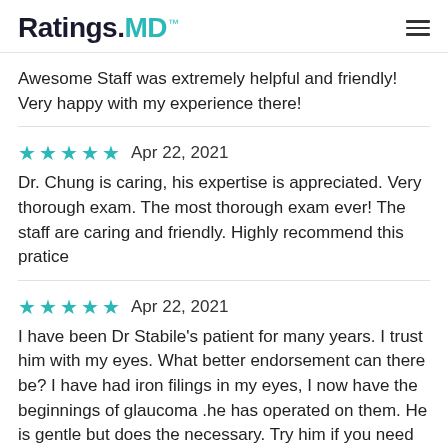Ratings.MD™
Awesome Staff was extremely helpful and friendly! Very happy with my experience there!
★★★★★  Apr 22, 2021
Dr. Chung is caring, his expertise is appreciated. Very thorough exam. The most thorough exam ever! The staff are caring and friendly. Highly recommend this pratice
★★★★★  Apr 22, 2021
I have been Dr Stabile's patient for many years. I trust him with my eyes. What better endorsement can there be? I have had iron filings in my eyes, I now have the beginnings of glaucoma .he has operated on them. He is gentle but does the necessary. Try him if you need someone good.